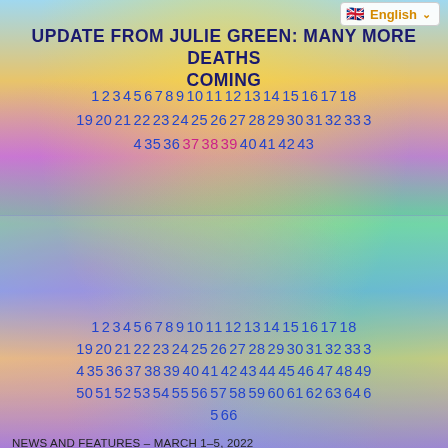English
UPDATE FROM JULIE GREEN: MANY MORE DEATHS COMING
1 2 3 4 5 6 7 8 9 10 11 12 13 14 15 16 17 18 19 20 21 22 23 24 25 26 27 28 29 30 31 32 33 3 4 35 36 37 38 39 40 41 42 43
NEWS AND FEATURES – MARCH 1-5, 2022
1ST DOZEN ARTICLES, VIDEOS AND FEATURES ABOUT THE CANADIAN TRUCKERS
1 2 3 4 5 6 7 8 9 10 11 12 13 14 15 16 17 18 19 20 21 22 23 24 25 26 27 28 29 30 31 32 33 3 4 35 36 37 38 39 40 41 42 43 44 45 46 47 48 49 50 51 52 53 54 55 56 57 58 59 60 61 62 63 64 6 5 66